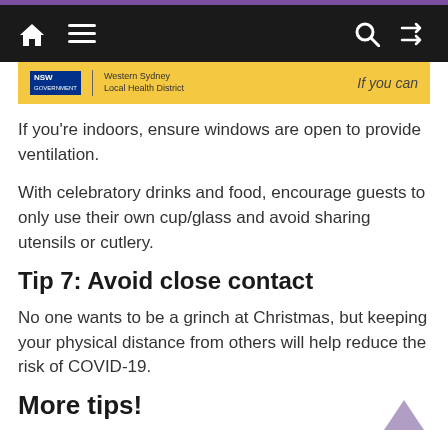NSW Government Western Sydney Local Health District | If you can
If you're indoors, ensure windows are open to provide ventilation.
With celebratory drinks and food, encourage guests to only use their own cup/glass and avoid sharing utensils or cutlery.
Tip 7: Avoid close contact
No one wants to be a grinch at Christmas, but keeping your physical distance from others will help reduce the risk of COVID-19.
More tips!